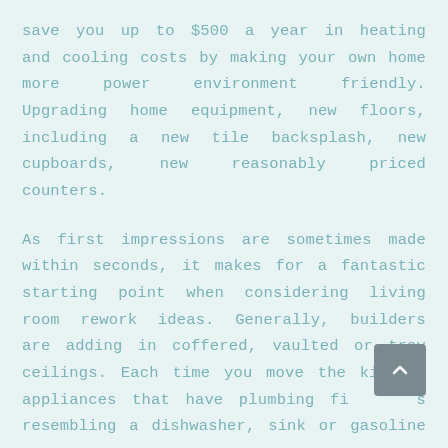save you up to $500 a year in heating and cooling costs by making your own home more power environment friendly. Upgrading home equipment, new floors, including a new tile backsplash, new cupboards, new reasonably priced counters.
As first impressions are sometimes made within seconds, it makes for a fantastic starting point when considering living room rework ideas. Generally, builders are adding in coffered, vaulted or tray ceilings. Each time you move the kitchen appliances that have plumbing fittings resembling a dishwasher, sink or gasoline oven,